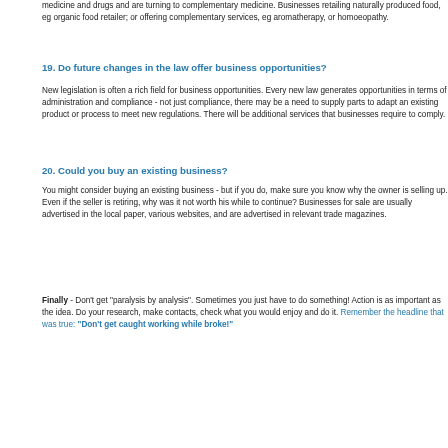medicine and drugs and are turning to complementary medicine. Businesses retailing naturally produced food, eg organic food retailer; or offering complementary services, eg aromatherapy, or homoeopathy.
19. Do future changes in the law offer business opportunities?
New legislation is often a rich field for business opportunities. Every new law generates opportunities in terms of administration and compliance - not just compliance, there may be a need to supply parts to adapt an existing product or process to meet new regulations. There will be additional services that businesses require to comply.
20. Could you buy an existing business?
You might consider buying an existing business - but if you do, make sure you know why the owner is selling up. Even if the seller is retiring, why was it not worth his while to continue? Businesses for sale are usually advertised in the local paper, various websites, and are advertised in relevant trade magazines.
Finally - Don't get "paralysis by analysis". Sometimes you just have to do something! Action is as important as the idea. Do your research, make contacts, check what you would enjoy and do it. Remember the headline that was true: "Don't get caught working while broke!"